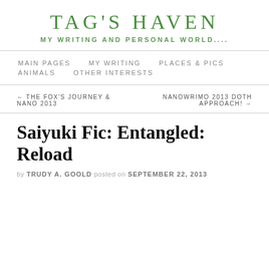TAG'S HAVEN
MY WRITING AND PERSONAL WORLD....
MAIN PAGES   MY WRITING   PLACES & PICS   ANIMALS   OTHER INTERESTS
← THE FOX'S JOURNEY & NANO 2013     NANOWRIMO 2013 DOTH APPROACH! →
Saiyuki Fic: Entangled: Reload
by TRUDY A. GOOLD posted on SEPTEMBER 22, 2013